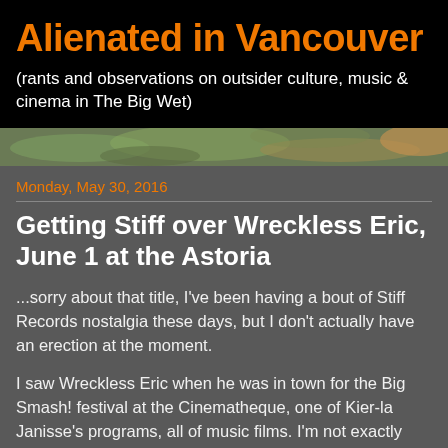Alienated in Vancouver
(rants and observations on outsider culture, music & cinema in The Big Wet)
[Figure (photo): Banner image of textured outdoor/nature scene with foliage and rocks in muted green, brown and grey tones]
Monday, May 30, 2016
Getting Stiff over Wreckless Eric, June 1 at the Astoria
...sorry about that title, I've been having a bout of Stiff Records nostalgia these days, but I don't actually have an erection at the moment.
I saw Wreckless Eric when he was in town for the Big Smash! festival at the Cinematheque, one of Kier-la Janisse's programs, all of music films. I'm not exactly sure what his role in things was, but Kier-la was supposedly making a movie about him at the time - so was Flick